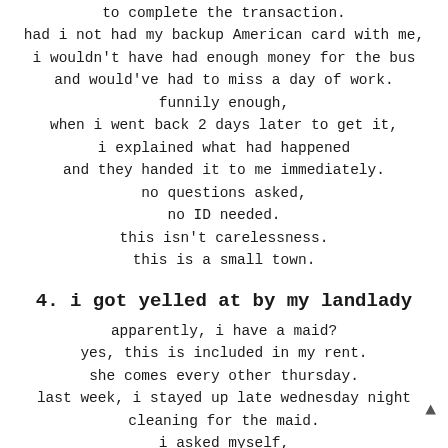to complete the transaction.
had i not had my backup American card with me,
i wouldn't have had enough money for the bus
and would've had to miss a day of work.
funnily enough,
when i went back 2 days later to get it,
i explained what had happened
and they handed it to me immediately.
no questions asked,
no ID needed.
this isn't carelessness.
this is a small town.
4. i got yelled at by my landlady
apparently, i have a maid?
yes, this is included in my rent.
she comes every other thursday.
last week, i stayed up late wednesday night
cleaning for the maid.
i asked myself,
"do i even cleaning for the maid?"